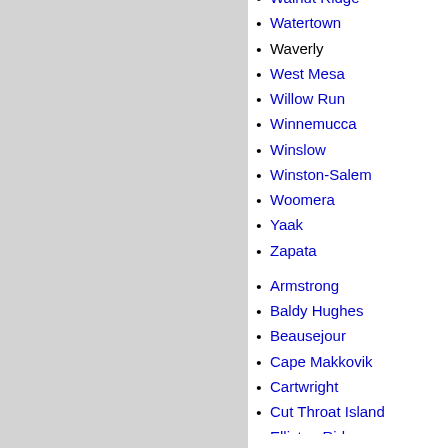Walnut Ridge
Watertown
Waverly
West Mesa
Willow Run
Winnemucca
Winslow
Winston-Salem
Woomera
Yaak
Zapata
Armstrong
Baldy Hughes
Beausejour
Cape Makkovik
Cartwright
Cut Throat Island
Elliston Ridge
Fox Harbour